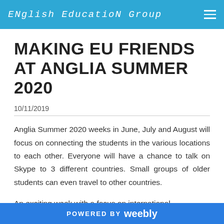ENGLISH EDUCATION GROUP
MAKING EU FRIENDS AT ANGLIA SUMMER 2020
10/11/2019
Anglia Summer 2020 weeks in June, July and August will focus on connecting the students in the various locations to each other. Everyone will have a chance to talk on Skype to 3 different countries. Small groups of older students can even travel to other countries.
An exciting week with a focus on international
POWERED BY weebly